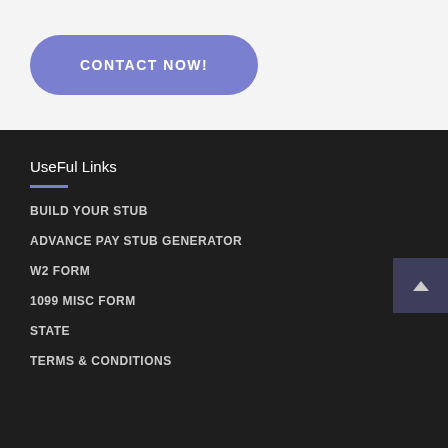CONTACT NOW!
UseFul Links
BUILD YOUR STUB
ADVANCE PAY STUB GENERATOR
W2 FORM
1099 MISC FORM
STATE
TERMS & CONDITIONS